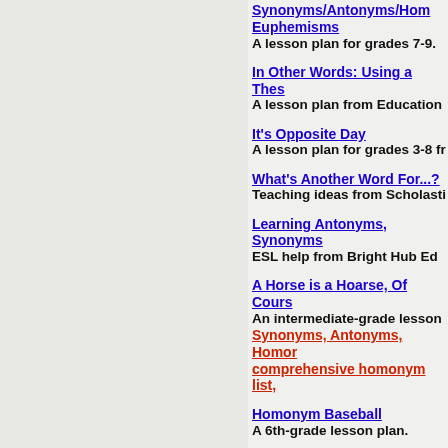Synonyms/Antonyms/Homonyms/Euphemisms — A lesson plan for grades 7-9.
In Other Words: Using a Thes... — A lesson plan from Education...
It's Opposite Day — A lesson plan for grades 3-8 fr...
What's Another Word For...? — Teaching ideas from Scholasti...
Learning Antonyms, Synonyms... — ESL help from Bright Hub Ed...
A Horse is a Hoarse, Of Cours... — An intermediate-grade lesson...
Synonyms, Antonyms, Homor... — comprehensive homonym list,...
Homonym Baseball — A 6th-grade lesson plan.
Self-Study Homonym Quizzes...